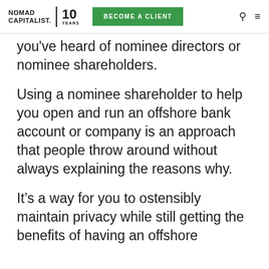NOMAD CAPITALIST. 10 YEARS | BECOME A CLIENT
you've heard of nominee directors or nominee shareholders.
Using a nominee shareholder to help you open and run an offshore bank account or company is an approach that people throw around without always explaining the reasons why.
It’s a way for you to ostensibly maintain privacy while still getting the benefits of having an offshore